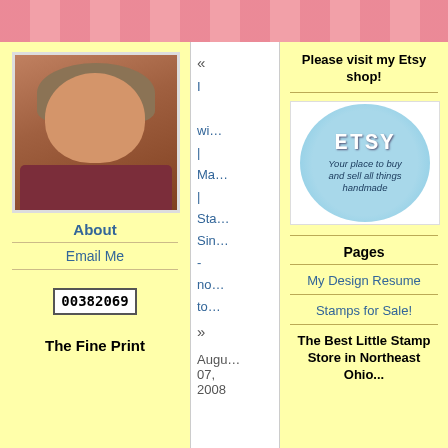[Figure (photo): Headshot photo of a smiling woman with short curly brown hair, wearing a dark red/maroon top]
About
Email Me
00382069
The Fine Print
« I wi... | Ma... | Sta... Sin... - not... tod... » Augu 07, 2008
Please visit my Etsy shop!
[Figure (logo): Etsy circular badge logo in blue with text ETSY and tagline 'Your place to buy and sell all things handmade']
Pages
My Design Resume
Stamps for Sale!
The Best Little Stamp Store in Northeast Ohio...